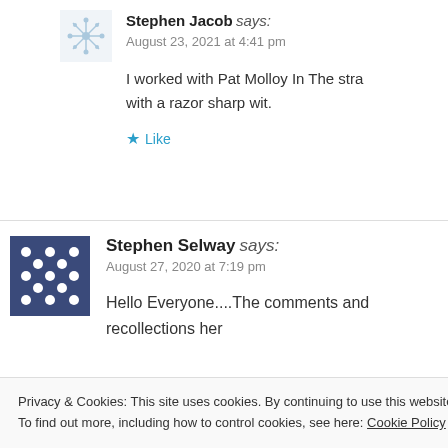Stephen Jacob says: August 23, 2021 at 4:41 pm
I worked with Pat Molloy In The stra... with a razor sharp wit.
Like
Stephen Selway says: August 27, 2020 at 7:19 pm
Hello Everyone....The comments and recollections her...
Privacy & Cookies: This site uses cookies. By continuing to use this website, you agree to their use.
To find out more, including how to control cookies, see here: Cookie Policy
Close and accept